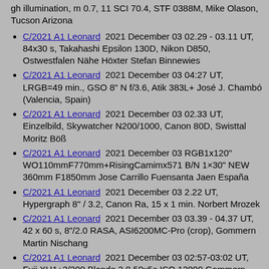gh illumination, m 0.7, 11 SCI 70.4, STF 0388M, Mike Olason, Tucson Arizona
C/2021 A1 Leonard  2021 December 03 02.29 - 03.11 UT, 84x30 s, Takahashi Epsilon 130D, Nikon D850, Ostwestfalen Nähe Höxter Stefan Binnewies
C/2021 A1 Leonard  2021 December 03 04:27 UT, LRGB=49 min., GSO 8" N f/3.6, Atik 383L+ José J. Chambó (Valencia, Spain)
C/2021 A1 Leonard  2021 December 03 02.33 UT, Einzelbild, Skywatcher N200/1000, Canon 80D, Swisttal Moritz Böß
C/2021 A1 Leonard  2021 December 03 RGB1x120" WO110mmF770mm+RisingCamimx571 B/N 1×30" NEW 360mm F1850mm Jose Carrillo Fuensanta Jaen España
C/2021 A1 Leonard  2021 December 03 2.22 UT, Hypergraph 8" / 3.2, Canon Ra, 15 x 1 min. Norbert Mrozek
C/2021 A1 Leonard  2021 December 03 03.39 - 04.37 UT, 42 x 60 s, 8"/2.0 RASA, ASI6200MC-Pro (crop), Gommern Martin Nischang
C/2021 A1 Leonard  2021 December 03 02:57-03:02 UT, Fuji XH1+2/200 Blende 2.8 50x5s ISO 12800 Gommern Uwe Wohlrab
C/2021 A1 Leonard  2021 December 03 02:59-03:01 UT, 25cm F/3.3 Deltagraph+Fuji XT20 4x20s ISO 25600-400 Gommern Uwe Wohlrab
C/2021 A1 Leonard  2021 December 03 03:25-04:28 UT, ...